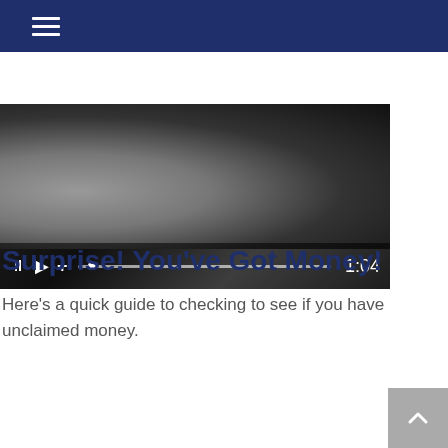Navigation menu header bar
[Figure (screenshot): Video player showing a black and white image of a person writing or signing, with playback controls including pause, play, volume/plus button, a progress bar, and timestamp showing 1:04]
Surprise! You've Got Money!
Here's a quick guide to checking to see if you have unclaimed money.
[Figure (photo): Black and white close-up photo of dark ocean water with light reflecting off waves]